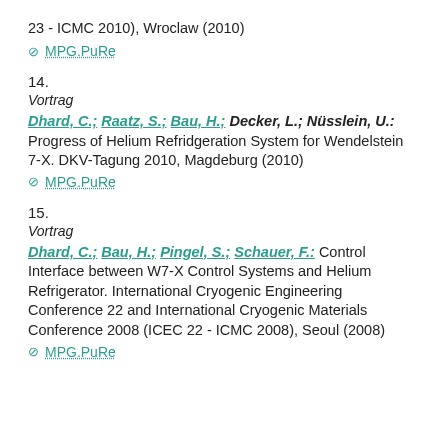23 - ICMC 2010), Wroclaw (2010)
⊘ MPG.PuRe
14.
Vortrag
Dhard, C.; Raatz, S.; Bau, H.; Decker, L.; Nüsslein, U.: Progress of Helium Refridgeration System for Wendelstein 7-X. DKV-Tagung 2010, Magdeburg (2010)
⊘ MPG.PuRe
15.
Vortrag
Dhard, C.; Bau, H.; Pingel, S.; Schauer, F.: Control Interface between W7-X Control Systems and Helium Refrigerator. International Cryogenic Engineering Conference 22 and International Cryogenic Materials Conference 2008 (ICEC 22 - ICMC 2008), Seoul (2008)
⊘ MPG.PuRe